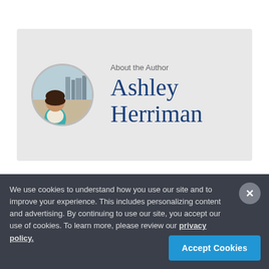[Figure (photo): Circular profile photo of Ashley Herriman, a woman outdoors near a waterfront or stadium]
About the Author
Ashley Herriman
We use cookies to understand how you use our site and to improve your experience. This includes personalizing content and advertising. By continuing to use our site, you accept our use of cookies. To learn more, please review our privacy policy.
Accept Cookies